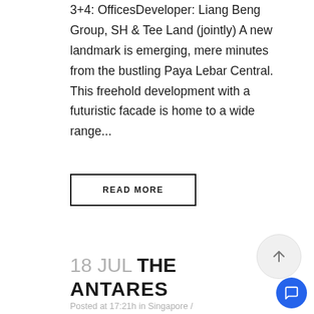3+4: OfficesDeveloper: Liang Beng Group, SH & Tee Land (jointly) A new landmark is emerging, mere minutes from the bustling Paya Lebar Central. This freehold development with a futuristic facade is home to a wide range...
READ MORE
18 JUL THE ANTARES
Posted at 17:21h in Singapore /